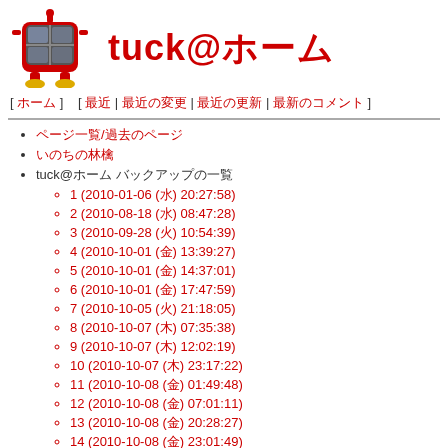[Figure (logo): Red robot mascot with TV screen head, arms, and golden feet]
tuck@ホーム
[ ホーム ]  [ 最近 | 最近の変更 | 最近の更新 | 最新のコメント ]
ページ一覧/過去のページ
いのちの林檎
tuck@ホーム バックアップの一覧
1 (2010-01-06 (水) 20:27:58)
2 (2010-08-18 (水) 08:47:28)
3 (2010-09-28 (火) 10:54:39)
4 (2010-10-01 (金) 13:39:27)
5 (2010-10-01 (金) 14:37:01)
6 (2010-10-01 (金) 17:47:59)
7 (2010-10-05 (火) 21:18:05)
8 (2010-10-07 (木) 07:35:38)
9 (2010-10-07 (木) 12:02:19)
10 (2010-10-07 (木) 23:17:22)
11 (2010-10-08 (金) 01:49:48)
12 (2010-10-08 (金) 07:01:11)
13 (2010-10-08 (金) 20:28:27)
14 (2010-10-08 (金) 23:01:49)